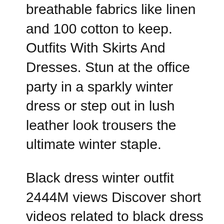breathable fabrics like linen and 100 cotton to keep. Outfits With Skirts And Dresses. Stun at the office party in a sparkly winter dress or step out in lush leather look trousers the ultimate winter staple.
Black dress winter outfit 2444M views Discover short videos related to black dress winter outfit on TikTok. Winter Paisley Belted Long Sleeve Dress Plus Size 13900. Dont forget you need to get a black blazer made from jacquard.
Dressing for winter can be tricky but weve put all our fave winter styles in this edit to make things so much easier. Hello Guys and Gals Was just curious to know what type of African clothes you wear in the winter. There arent any textbook rules to the smart casual style so guys can mix up t-